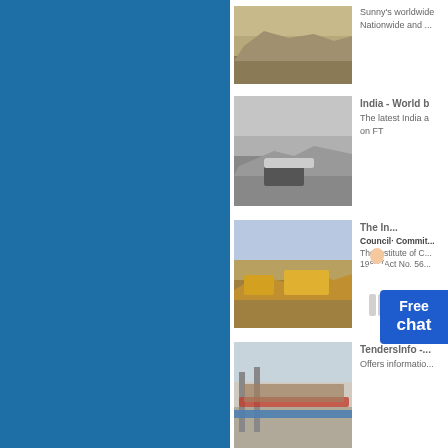[Figure (photo): Mining/quarry landscape with dusty terrain]
Sunny's worldwide Nationwide and ...
[Figure (photo): Mining excavator working in rocky quarry]
India - World b
The latest India a on FT
[Figure (photo): Yellow heavy mining equipment on quarry site]
The In... Council· Commit...
The Institute of C... 1980 (Act No. 56...
[Figure (photo): Industrial conveyor belt system at mining plant]
TendersInfo -...
Offers informatio...
[Figure (photo): Yellow mining machinery in quarry landscape]
World News -...
Friday, 25 April 2...